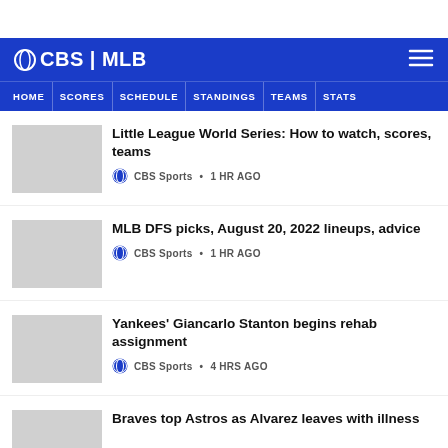CBS | MLB
Little League World Series: How to watch, scores, teams — CBS Sports • 1 HR AGO
MLB DFS picks, August 20, 2022 lineups, advice — CBS Sports • 1 HR AGO
Yankees' Giancarlo Stanton begins rehab assignment — CBS Sports • 4 HRS AGO
Braves top Astros as Alvarez leaves with illness